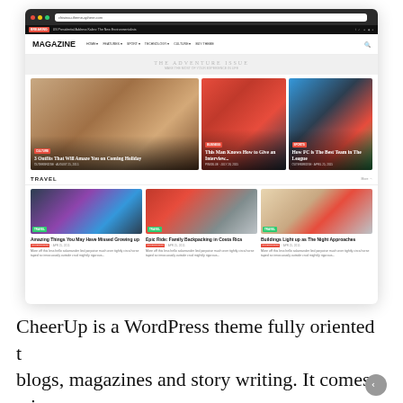[Figure (screenshot): Screenshot of a magazine-style WordPress theme called MAGAZINE showing browser chrome, navigation bar, hero banner, featured article cards with images of a person with cat ears, a microphone, and a soccer player, followed by a Travel section with three article cards about Growing Up, Family Backpacking in Costa Rica, and Buildings Light up as The Night Approaches]
CheerUp is a WordPress theme fully oriented to blogs, magazines and story writing. It comes with 1,000+